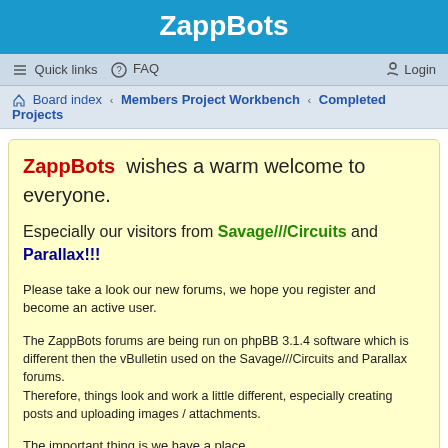ZappBots
Quick links  FAQ  Login
Board index › Members Project Workbench › Completed Projects
ZappBots wishes a warm welcome to everyone.
Especially our visitors from Savage///Circuits and Parallax!!!
Please take a look our new forums, we hope you register and become an active user.
The ZappBots forums are being run on phpBB 3.1.4 software which is different then the vBulletin used on the Savage///Circuits and Parallax forums. Therefore, things look and work a little different, especially creating posts and uploading images / attachments.
The important thing is we have a place to Talk , Learn and Showcase our projects .
RetroPie